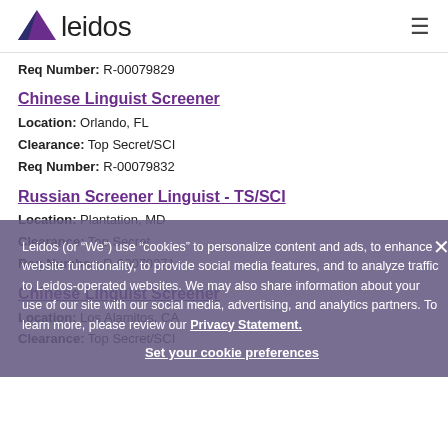leidos
Req Number: R-00079829
Chinese Linguist Screener
Location: Orlando, FL
Clearance: Top Secret/SCI
Req Number: R-00079832
Russian Screener Linguist - TS/SCI
Location: Plantation, MD
Clearance: Top Secret
Req Number: R-00070371
Chinese Linguist Screener
Location: Los Alamitos, CA
Clearance: Top Secret/SCI
Leidos (or “We”) use “cookies” to personalize content and ads, to enhance website functionality, to provide social media features, and to analyze traffic to Leidos-operated websites. We may also share information about your use of our site with our social media, advertising, and analytics partners. To learn more, please review our Privacy Statement. Set your cookie preferences